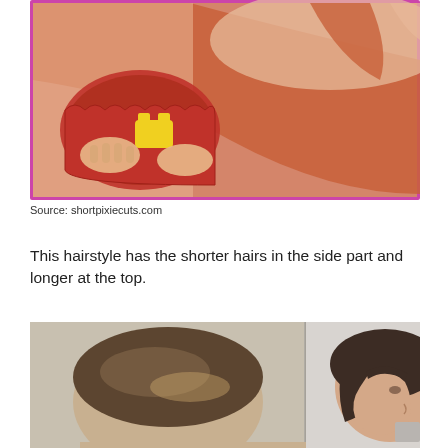[Figure (photo): Photo of a person in an orange wrap top holding a yellow rubber toy against a red surface with pink border frame.]
Source: shortpixiecuts.com
This hairstyle has the shorter hairs in the side part and longer at the top.
[Figure (photo): Two-panel photo showing short pixie hairstyle from back and side profile views of a woman with dark brown hair.]